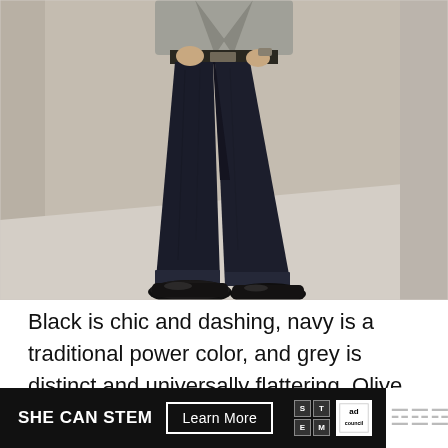[Figure (photo): A man walking, wearing dark navy slim jeans with cuffed hems, a grey blazer, and black patent leather dress shoes/loafers. Shot from torso down, against a concrete wall background.]
Black is chic and dashing, navy is a traditional power color, and grey is distinct and universally flattering. Olive is a he...
[Figure (infographic): Ad banner: SHE CAN STEM | Learn More button | STEM logo grid | Ad Council logo]